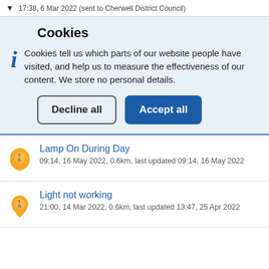17:38, 6 Mar 2022 (sent to Cherwell District Council)
Cookies
Cookies tell us which parts of our website people have visited, and help us to measure the effectiveness of our content. We store no personal details.
Decline all | Accept all
Lamp On During Day
09:14, 16 May 2022, 0.6km, last updated 09:14, 16 May 2022
Light not working
21:00, 14 Mar 2022, 0.6km, last updated 13:47, 25 Apr 2022